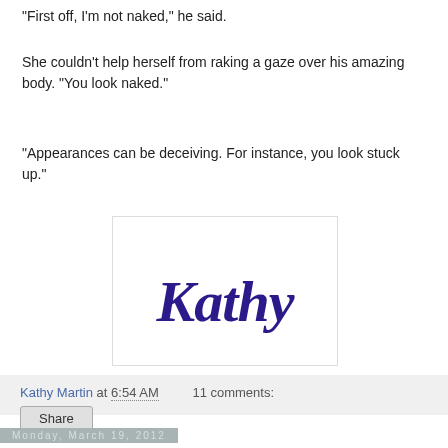"First off, I'm not naked," he said.
She couldn't help herself from raking a gaze over his amazing body. "You look naked."
"Appearances can be deceiving. For instance, you look stuck up."
[Figure (illustration): Handwritten signature reading 'Kathy' in dark blue cursive script on white background with border]
Kathy Martin at 6:54 AM   11 comments:
Share
Monday, March 19, 2012
Spring Cleaning Giveaway Hop
[Figure (illustration): Hosted by banner image with dark blue/navy background and decorative text]